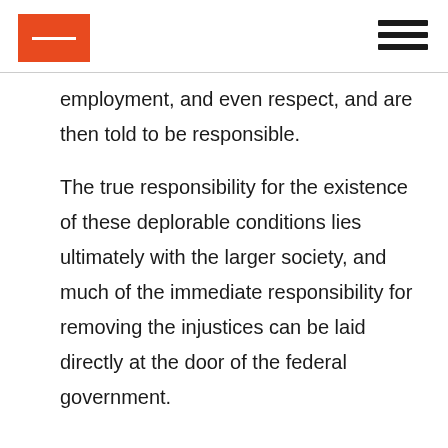[Logo and navigation menu]
employment, and even respect, and are then told to be responsible.

The true responsibility for the existence of these deplorable conditions lies ultimately with the larger society, and much of the immediate responsibility for removing the injustices can be laid directly at the door of the federal government.